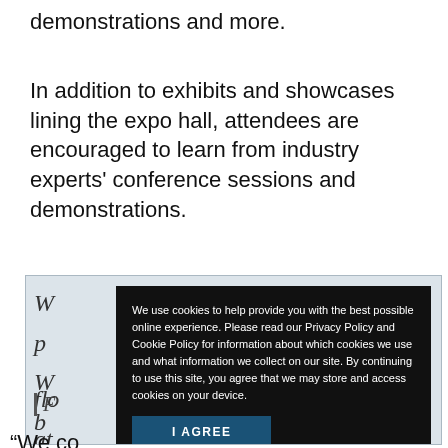demonstrations and more.
In addition to exhibits and showcases lining the expo hall, attendees are encouraged to learn from industry experts' conference sessions and demonstrations.
[Figure (screenshot): A screenshot of a webpage partially visible behind a cookie consent overlay. The cookie overlay has black background with white text: 'We use cookies to help provide you with the best possible online experience. Please read our Privacy Policy and Cookie Policy for information about which cookies we use and what information we collect on our site. By continuing to use this site, you agree that we may store and access cookies on your device.' with an 'I AGREE' button in dark blue. Behind the overlay, partially visible italic text and a blockquote marker are visible.]
“We co